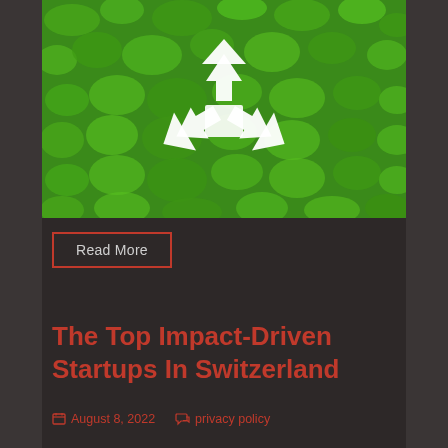[Figure (photo): Photo of a bright green moss background with a white recycling symbol (three arrows forming a triangle) in the center]
Read More
The Top Impact-Driven Startups In Switzerland
August 8, 2022    privacy policy